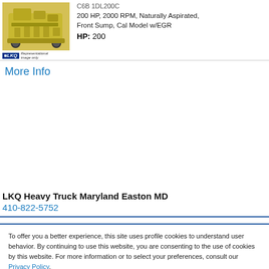[Figure (photo): Yellow diesel engine (representational image only) with LKQ Heavy Truck Unlimited logo/badge below it]
HP: 200 | 200 HP, 2000 RPM, Naturally Aspirated, Front Sump, Cal Model w/EGR
More Info
LKQ Heavy Truck Maryland Easton MD
410-822-5752
To offer you a better experience, this site uses profile cookies to understand user behavior. By continuing to use this website, you are consenting to the use of cookies by this website. For more information or to select your preferences, consult our Privacy Policy.
Cookie settings  ACCEPT  REJECT